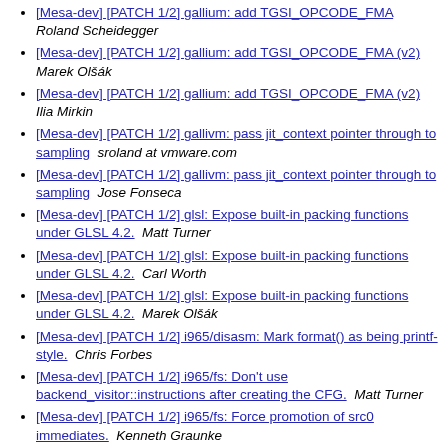[Mesa-dev] [PATCH 1/2] gallium: add TGSI_OPCODE_FMA  Roland Scheidegger
[Mesa-dev] [PATCH 1/2] gallium: add TGSI_OPCODE_FMA (v2)  Marek Olšák
[Mesa-dev] [PATCH 1/2] gallium: add TGSI_OPCODE_FMA (v2)  Ilia Mirkin
[Mesa-dev] [PATCH 1/2] gallivm: pass jit_context pointer through to sampling  sroland at vmware.com
[Mesa-dev] [PATCH 1/2] gallivm: pass jit_context pointer through to sampling  Jose Fonseca
[Mesa-dev] [PATCH 1/2] glsl: Expose built-in packing functions under GLSL 4.2.  Matt Turner
[Mesa-dev] [PATCH 1/2] glsl: Expose built-in packing functions under GLSL 4.2.  Carl Worth
[Mesa-dev] [PATCH 1/2] glsl: Expose built-in packing functions under GLSL 4.2.  Marek Olšák
[Mesa-dev] [PATCH 1/2] i965/disasm: Mark format() as being printf-style.  Chris Forbes
[Mesa-dev] [PATCH 1/2] i965/fs: Don't use backend_visitor::instructions after creating the CFG.  Matt Turner
[Mesa-dev] [PATCH 1/2] i965/fs: Force promotion of src0 immediates.  Kenneth Graunke
[Mesa-dev] [PATCH 1/2] i965/fs: Force promotion of src0 immediates.  Matt Turner